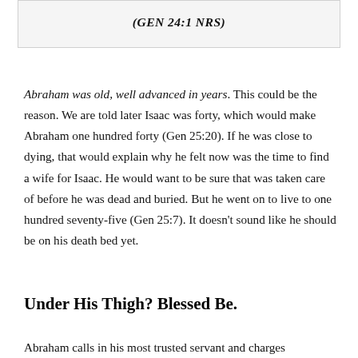(GEN 24:1 NRS)
Abraham was old, well advanced in years. This could be the reason. We are told later Isaac was forty, which would make Abraham one hundred forty (Gen 25:20). If he was close to dying, that would explain why he felt now was the time to find a wife for Isaac. He would want to be sure that was taken care of before he was dead and buried. But he went on to live to one hundred seventy-five (Gen 25:7). It doesn't sound like he should be on his death bed yet.
Under His Thigh? Blessed Be.
Abraham calls in his most trusted servant and charges